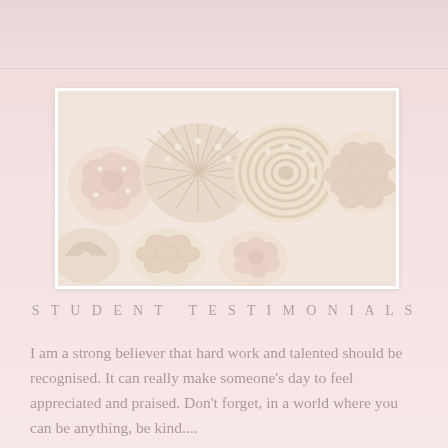[Figure (photo): Overhead view of elegantly decorated cupcakes in soft blush and cream tones, arranged in a white box. Cupcakes feature intricate designs including rosettes, shell patterns, scale textures, and pearl decorations.]
STUDENT TESTIMONIALS
I am a strong believer that hard work and talented should be recognised. It can really make someone's day to feel appreciated and praised. Don't forget, in a world where you can be anything, be kind....